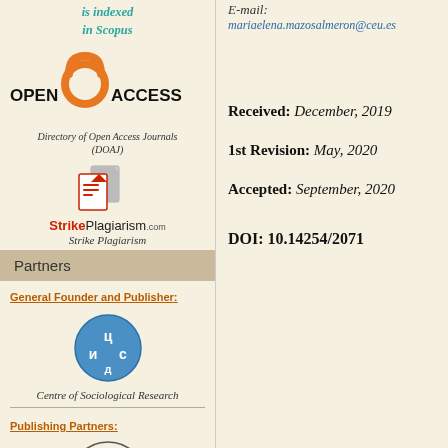is indexed in Scopus
[Figure (logo): Open Access logo with orange open lock icon and text OPEN ACCESS]
Directory of Open Access Journals (DOAJ)
[Figure (logo): StrikePlagiarism.com logo with two document icons in red and grey]
Strike Plagiarism
Partners
General Founder and Publisher:
[Figure (logo): Centre of Sociological Research circular logo with Cyrillic letters]
Centre of Sociological Research
Publishing Partners:
[Figure (logo): University logo circular badge with UNIWERSYTET text]
E-mail: mariaelena.mazosalmeron@ceu.es
Received: December, 2019
1st Revision: May, 2020
Accepted: September, 2020
DOI: 10.14254/2071